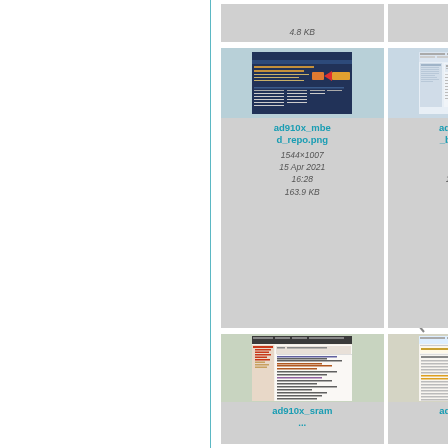[Figure (screenshot): File listing page partial top row showing 4.8 KB file size]
[Figure (screenshot): Thumbnail of ad910x_mbed_repo.png showing a web interface with orange arrow]
ad910x_mbed_repo.png
1544×1007
15 Apr 2021 16:28
163.9 KB
[Figure (screenshot): Thumbnail of ad910x_send_bin_to_k1.png showing a file browser dialog]
ad910x_send_bin_to_k1.png
849×563
15 Apr 2021 16:50
44.3 KB
[Figure (screenshot): Thumbnail of ad910x_sram... showing a code editor]
ad910x_sram...
[Figure (screenshot): Thumbnail of ad910x_succ... showing an interface with yellow/orange elements]
ad910x_succ...